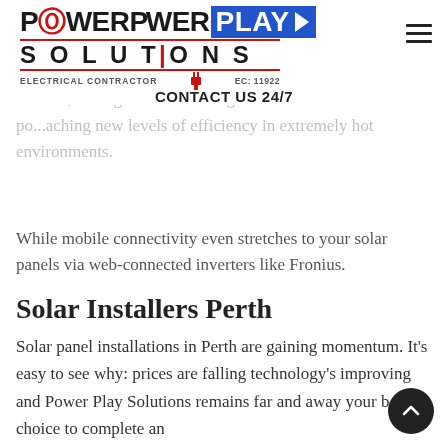[Figure (logo): Power Play Solutions Electrical Contractor logo with EC: 11922, blue play button box, red plug icon]
CONTACT US 24/7
...important beyond the SW Eagle series. There is a lot to like about it, having claimed No. 1 global solar module maker po... aching new levels of efficiency in extremely hot environments.
While mobile connectivity even stretches to your solar panels via web-connected inverters like Fronius.
Solar Installers Perth
Solar panel installations in Perth are gaining momentum. It's easy to see why: prices are falling technology's improving and Power Play Solutions remains far and away your best choice to complete an